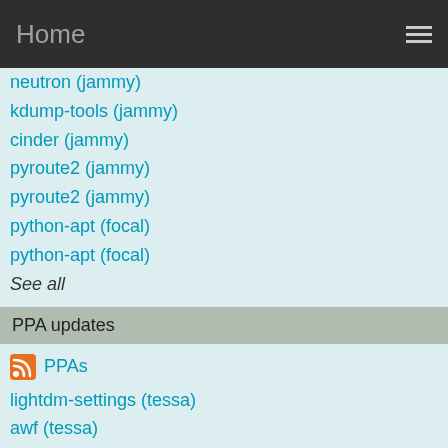Home
neutron (jammy)
kdump-tools (jammy)
cinder (jammy)
pyroute2 (jammy)
pyroute2 (jammy)
python-apt (focal)
python-apt (focal)
See all
PPA updates
PPAs
lightdm-settings (tessa)
awf (tessa)
apturl (tessa)
rhythmbox-plugin-tray-icon (tessa)
mint-backgrounds-petra (tessa)
mint-backgrounds-qiana (tessa)
mint-backgrounds-rafaela (tessa)
mint-backgrounds-rosa (tessa)